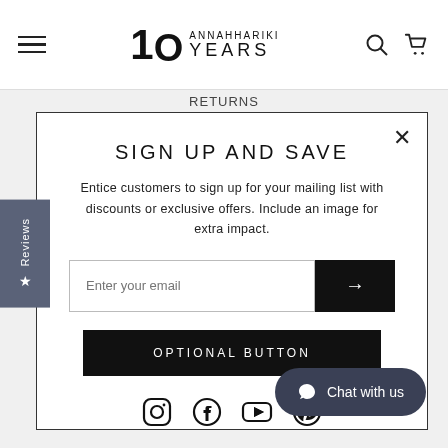10 ANNAHHARIKI YEARS [logo] | Returns
SIGN UP AND SAVE
Entice customers to sign up for your mailing list with discounts or exclusive offers. Include an image for extra impact.
Enter your email
OPTIONAL BUTTON
[Figure (other): Social media icons: Instagram, Facebook, YouTube, Pinterest]
Chat with us